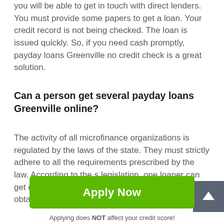you will be able to get in touch with direct lenders. You must provide some papers to get a loan. Your credit record is not being checked. The loan is issued quickly. So, if you need cash promptly, payday loans Greenville no credit check is a great solution.
Can a person get several payday loans Greenville online?
The activity of all microfinance organizations is regulated by the laws of the state. They must strictly adhere to all the requirements prescribed by the law. According to the s legislation, one loaner can get only one credit. All the conditions of the credit obtaining are specified in the loan
[Figure (other): Green Apply Now button]
Applying does NOT affect your credit score!
No credit check to apply.